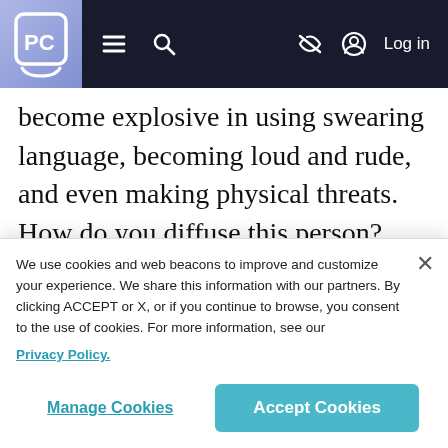PC [logo] — navigation bar with menu, search, hide icon, and Log in
become explosive in using swearing language, becoming loud and rude, and even making physical threats. How do you diffuse this person? You need to empathize, listen, and offer support. Be sure to acknowledge their feelings and repeating back what they are saying to you. You can even nod occasionally to let them know that you are li…
We use cookies and web beacons to improve and customize your experience. We share this information with our partners. By clicking ACCEPT or X, or if you continue to browse, you consent to the use of cookies. For more information, see our Privacy Policy.
Manage Cookies | Accept Cookies